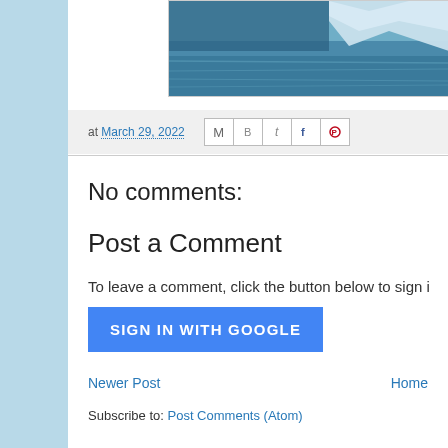[Figure (photo): Partial view of an iceberg and ocean water in blue tones, cropped at top]
at March 29, 2022
No comments:
Post a Comment
To leave a comment, click the button below to sign i
SIGN IN WITH GOOGLE
Newer Post
Home
Subscribe to: Post Comments (Atom)